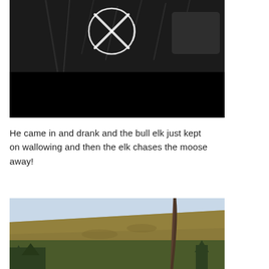[Figure (photo): Night vision / trail camera image showing dark forest brush with a circular targeting reticle (crosshairs) overlaid in white in the upper portion; bottom half is solid black, suggesting a video thumbnail with a muted/blocked frame.]
He came in and drank and the bull elk just kept on wallowing and then the elk chases the moose away!
[Figure (photo): Trail camera photo showing a hillside covered in brown/orange grass and low vegetation with scattered small trees and conifers in the lower portion; pale blue sky above; a tall thin bare tree trunk or pole visible on the right side.]